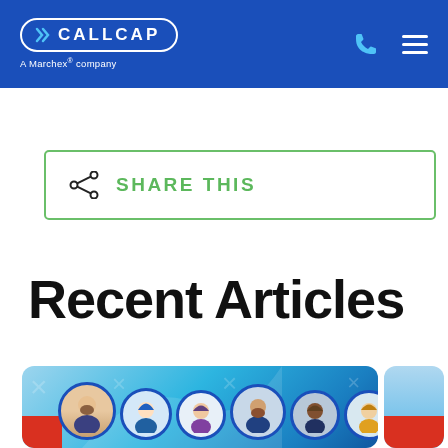CALLCAP — A Marchex® company
[Figure (other): Share This button with share icon inside a green-bordered rectangle]
Recent Articles
[Figure (illustration): Article card preview with cartoon avatars of people in circular frames on a blue gradient background with decorative X marks]